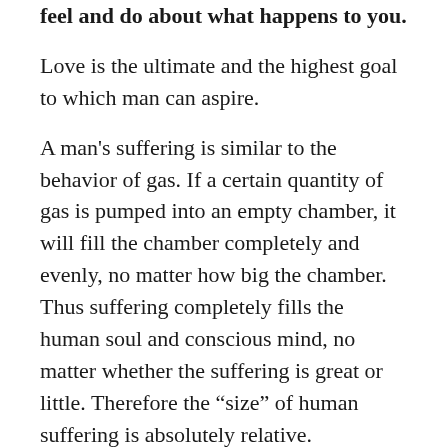feel and do about what happens to you.
Love is the ultimate and the highest goal to which man can aspire.
A man’s suffering is similar to the behavior of gas. If a certain quantity of gas is pumped into an empty chamber, it will fill the chamber completely and evenly, no matter how big the chamber. Thus suffering completely fills the human soul and conscious mind, no matter whether the suffering is great or little. Therefore the “size” of human suffering is absolutely relative.
It doesn’t matter what we expected from life, but rather what life expected from us.